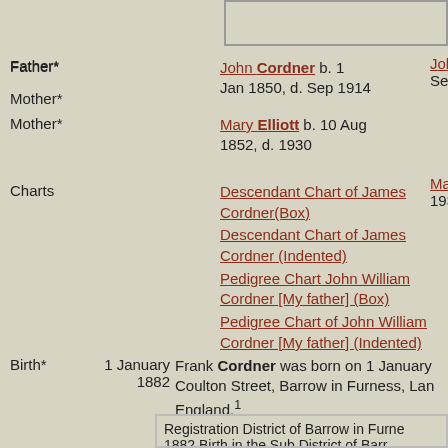Father*    John Cordner b. 1 Jan 1850, d. Sep 1914
Mother*    Mary Elliott b. 10 Aug 1852, d. 1930
Charts    Descendant Chart of James Cordner(Box)
Descendant Chart of James Cordner (Indented)
Pedigree Chart John William Cordner [My father] (Box)
Pedigree Chart of John William Cordner [My father] (Indented)
Birth*    1 January 1882    Frank Cordner was born on 1 January Coulton Street, Barrow in Furness, Lan England.¹
Registration District of Barrow in Furne 1882 Birth in the Sub District of Barr